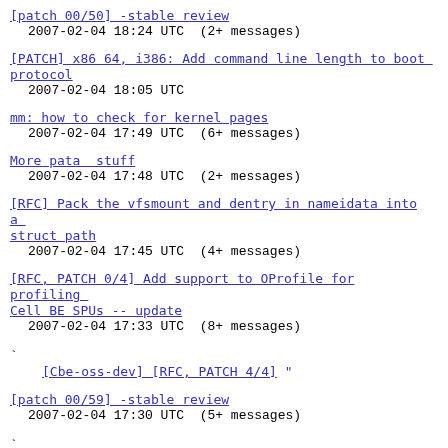[patch 00/50] -stable review
  2007-02-04 18:24 UTC  (2+ messages)
[PATCH] x86 64, i386: Add command line length to boot protocol
  2007-02-04 18:05 UTC
mm: how to check for kernel pages
  2007-02-04 17:49 UTC  (6+ messages)
More pata  stuff
  2007-02-04 17:48 UTC  (2+ messages)
[RFC] Pack the vfsmount and dentry in nameidata into a struct path
  2007-02-04 17:45 UTC  (4+ messages)
[RFC, PATCH 0/4] Add support to OProfile for profiling Cell BE SPUs -- update
  2007-02-04 17:33 UTC  (8+ messages)
  ` [Cbe-oss-dev] [RFC, PATCH 4/4] "
[patch 00/59] -stable review
  2007-02-04 17:30 UTC  (5+ messages)
  ` [stable] "
[RFC] [PATCH] Fix up needless kmap:s
  2007-02-04 16:49 UTC  (2+ messages)